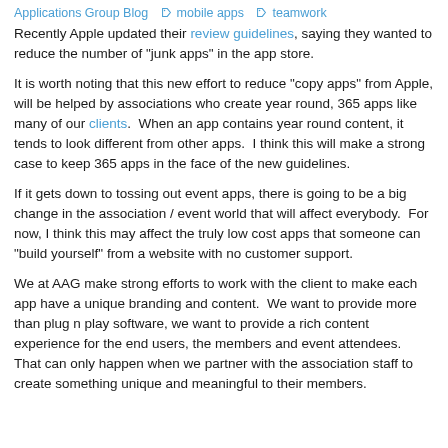Applications Group Blog   mobile apps   teamwork
Recently Apple updated their review guidelines, saying they wanted to reduce the number of "junk apps" in the app store.
It is worth noting that this new effort to reduce "copy apps" from Apple, will be helped by associations who create year round, 365 apps like many of our clients.  When an app contains year round content, it tends to look different from other apps.  I think this will make a strong case to keep 365 apps in the face of the new guidelines.
If it gets down to tossing out event apps, there is going to be a big change in the association / event world that will affect everybody.  For now, I think this may affect the truly low cost apps that someone can "build yourself" from a website with no customer support.
We at AAG make strong efforts to work with the client to make each app have a unique branding and content.  We want to provide more than plug n play software, we want to provide a rich content experience for the end users, the members and event attendees.  That can only happen when we partner with the association staff to create something unique and meaningful to their members.